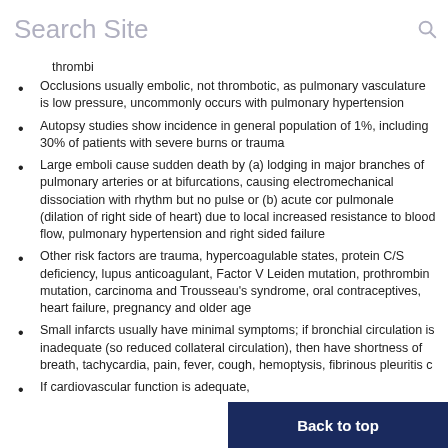Search Site
thrombi
Occlusions usually embolic, not thrombotic, as pulmonary vasculature is low pressure, uncommonly occurs with pulmonary hypertension
Autopsy studies show incidence in general population of 1%, including 30% of patients with severe burns or trauma
Large emboli cause sudden death by (a) lodging in major branches of pulmonary arteries or at bifurcations, causing electromechanical dissociation with rhythm but no pulse or (b) acute cor pulmonale (dilation of right side of heart) due to local increased resistance to blood flow, pulmonary hypertension and right sided failure
Other risk factors are trauma, hypercoagulable states, protein C/S deficiency, lupus anticoagulant, Factor V Leiden mutation, prothrombin mutation, carcinoma and Trousseau's syndrome, oral contraceptives, heart failure, pregnancy and older age
Small infarcts usually have minimal symptoms; if bronchial circulation is inadequate (so reduced collateral circulation), then have shortness of breath, tachycardia, pain, fever, cough, hemoptysis, fibrinous pleuritis c…
If cardiovascular function is adequate, …